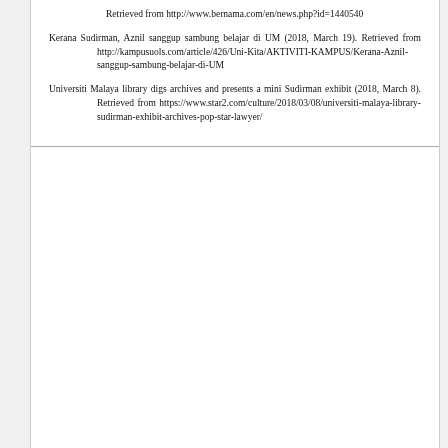Retrieved from http://www.bernama.com/en/news.php?id=1440540
Kerana Sudirman, Aznil sanggup sambung belajar di UM (2018, March 19). Retrieved from http://kampusuols.com/article/426/Uni-Kita/AKTIVITI-KAMPUS/Kerana-Aznil-sanggup-sambung-belajar-di-UM
Universiti Malaya library digs archives and presents a mini Sudirman exhibition (2018, March 8). Retrieved from https://www.star2.com/culture/2018/03/08/universiti-malaya-library-sudirman-exhibit-archives-pop-star-lawyer/